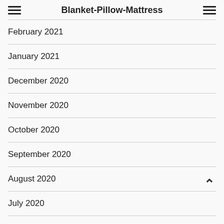Blanket-Pillow-Mattress
February 2021
January 2021
December 2020
November 2020
October 2020
September 2020
August 2020
July 2020
June 2020